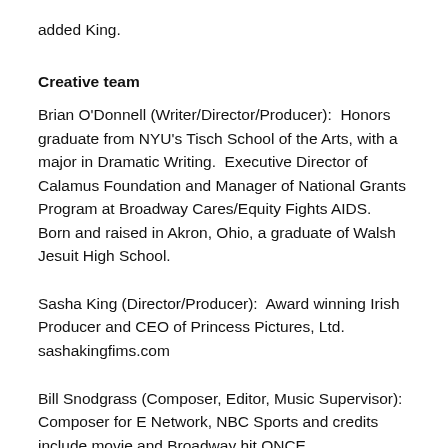added King.
Creative team
Brian O'Donnell (Writer/Director/Producer):  Honors graduate from NYU's Tisch School of the Arts, with a major in Dramatic Writing.  Executive Director of Calamus Foundation and Manager of National Grants Program at Broadway Cares/Equity Fights AIDS.  Born and raised in Akron, Ohio, a graduate of Walsh Jesuit High School.
Sasha King (Director/Producer):  Award winning Irish Producer and CEO of Princess Pictures, Ltd. sashakingfims.com
Bill Snodgrass (Composer, Editor, Music Supervisor):  Composer for E Network, NBC Sports and credits include movie and Broadway hit ONCE.